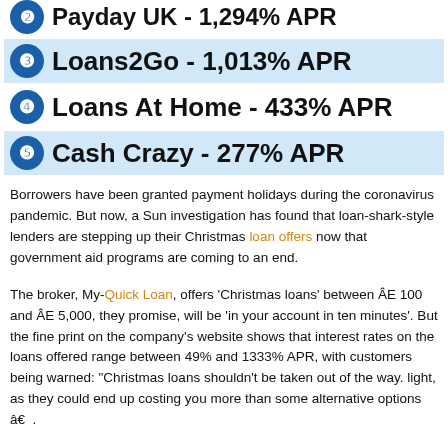2 Payday UK - 1,294% APR
3 Loans2Go - 1,013% APR
4 Loans At Home - 433% APR
5 Cash Crazy - 277% APR
Borrowers have been granted payment holidays during the coronavirus pandemic. But now, a Sun investigation has found that loan-shark-style lenders are stepping up their Christmas loan offers now that government aid programs are coming to an end.
The broker, My-Quick Loan, offers ‘Christmas loans’ between Â£ 100 and Â£ 5,000, they promise, will be ‘in your account in ten minutes’. But the fine print on the company’s website shows that interest rates on the loans offered range between 49% and 1333% APR, with customers being warned: “Christmas loans shouldn’t be taken out of the way. light, as they could end up costing you more than some alternative options â€   .
Dear broker, Payday UK also offers ‘instant decisions on Christmas...